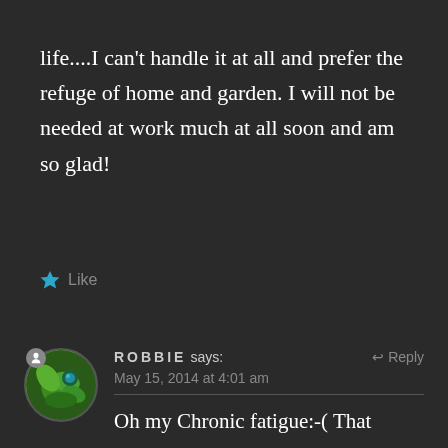life....I can't handle it at all and prefer the refuge of home and garden. I will not be needed at work much at all soon and am so glad!
Like
ROBBIE says: May 15, 2014 at 4:01 am
Oh my Chronic fatigue:-( That would be hard to handle in todays